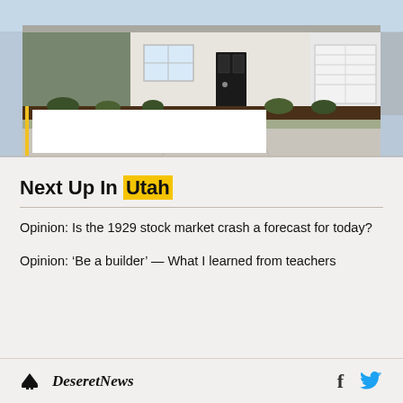[Figure (photo): Exterior photo of a single-story suburban house with white stone facade, dark front door, large garage door, and landscaped front yard with dark mulch. A white redacted box and yellow accent bar overlay the lower portion of the image.]
Next Up In Utah
Opinion: Is the 1929 stock market crash a forecast for today?
Opinion: ‘Be a builder’ — What I learned from teachers
Deseret News